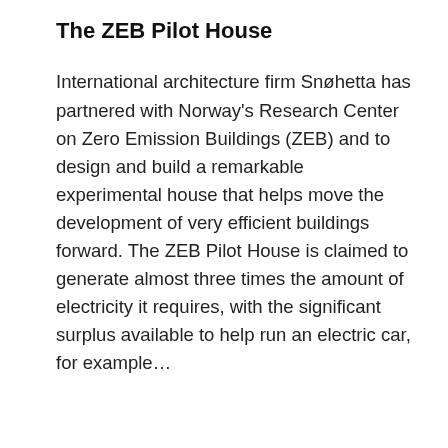The ZEB Pilot House
International architecture firm Snøhetta has partnered with Norway's Research Center on Zero Emission Buildings (ZEB) and to design and build a remarkable experimental house that helps move the development of very efficient buildings forward. The ZEB Pilot House is claimed to generate almost three times the amount of electricity it requires, with the significant surplus available to help run an electric car, for example…